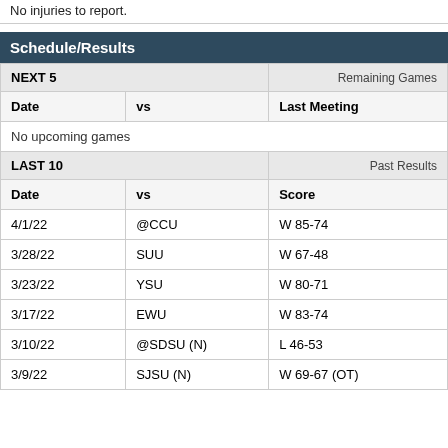No injuries to report.
Schedule/Results
| Date | vs | Last Meeting |
| --- | --- | --- |
| No upcoming games |  |  |
| Date | vs | Score |
| --- | --- | --- |
| 4/1/22 | @CCU | W 85-74 |
| 3/28/22 | SUU | W 67-48 |
| 3/23/22 | YSU | W 80-71 |
| 3/17/22 | EWU | W 83-74 |
| 3/10/22 | @SDSU (N) | L 46-53 |
| 3/9/22 | SJSU (N) | W 69-67 (OT) |